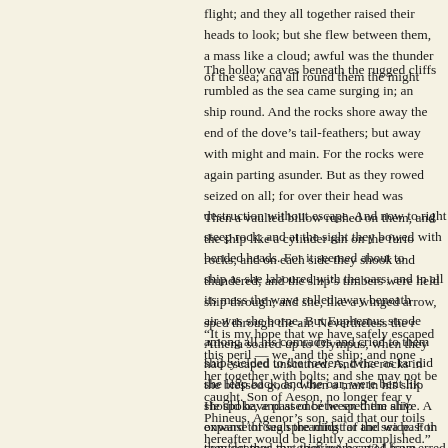flight; and they all together raised their heads to look; but she flew between them, a mass like a cloud; awful was the thunder of the sea; and all round them the might
The hollow caves beneath the rugged cliffs rumbled as the sea came surging in; and ship round. And the rocks shore away the end of the dove’s tail-feathers; but away with might and main. For the rocks were again parting asunder. But as they rowed seized on all; for over their head was destruction without escape. And now to right steep rock; and at the sight they bowed with bended heads. For it seemed about to b ship as she laboured with the oars; and in all its mass the wave rolled away beneath air was she borne. But Euphemus strode among all his comrades and cried to them ship yielded to the rowers, twice as far did she leap back, and the oar, were bent lik
Then a vaulted billow rushed on them, and the ship like a cylinder ran on the furio rocks; and on each side they shook and thundered; and the ship’s timbers were held ship through; and she, like a winged arrow, sped through the air. Nevertheless the r Athena soared up to Olympus, when they had escaped unscathed. And the rocks in the blessed gods, when a man in his ship should have passed between them alive. A expanse of sea spreading far and wide. For they deemed that they were saved from
“It is my hope that we have safely escaped this peril — we, and the ship; and none her together with bolts; and she may not be caught. Son of Aeson, no longer fear y Phineus, Agenor’s son, said that our toils hereafter would be lightly accomplished.”
He spoke, and at once he sped the ship onward through the midst of the sea past th comfort thus my grieving heart? I have erred and am distraught in wretched and her